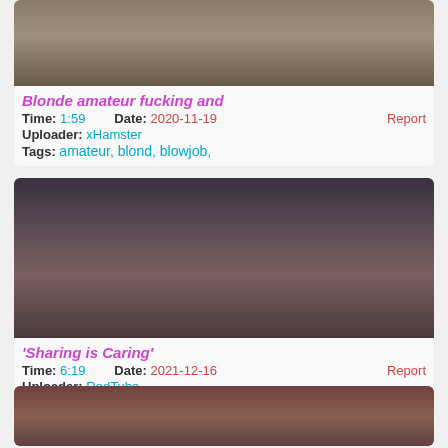[Figure (photo): Video thumbnail - blonde amateur]
Blonde amateur fucking and
Time: 1:59   Date: 2020-11-19   Uploader: xHamster   Report
Tags: amateur, blond, blowjob,
[Figure (photo): Video thumbnail - sharing is caring]
'Sharing is Caring'
Time: 6:19   Date: 2021-12-16   Uploader: RedTube   Report
Tags: amateur, blond, blowjob,
[Figure (photo): Video thumbnail - third video]